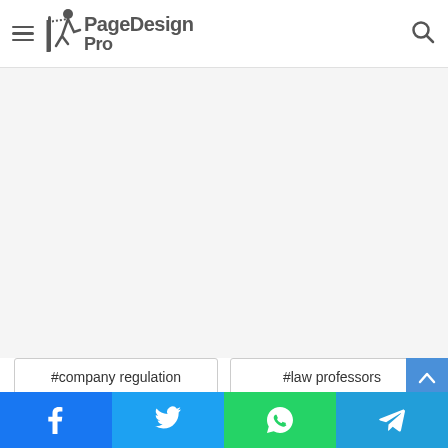PageDesignPro
[Figure (other): Advertisement or empty content area (gray background)]
#company regulation
#law professors
#law school
#legal professional
Social share buttons: Facebook, Twitter, WhatsApp, Telegram